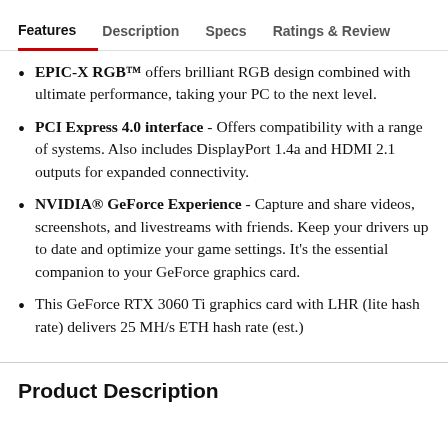Features  Description  Specs  Ratings & Reviews
EPIC-X RGB™ offers brilliant RGB design combined with ultimate performance, taking your PC to the next level.
PCI Express 4.0 interface - Offers compatibility with a range of systems. Also includes DisplayPort 1.4a and HDMI 2.1 outputs for expanded connectivity.
NVIDIA® GeForce Experience - Capture and share videos, screenshots, and livestreams with friends. Keep your drivers up to date and optimize your game settings. It's the essential companion to your GeForce graphics card.
This GeForce RTX 3060 Ti graphics card with LHR (lite hash rate) delivers 25 MH/s ETH hash rate (est.)
Product Description